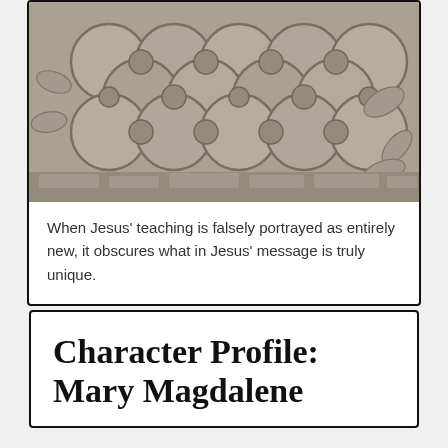[Figure (photo): Stone carved relief with intricate interlocking circular and floral patterns, appearing to be ancient architectural stonework.]
When Jesus' teaching is falsely portrayed as entirely new, it obscures what in Jesus' message is truly unique.
Character Profile: Mary Magdalene